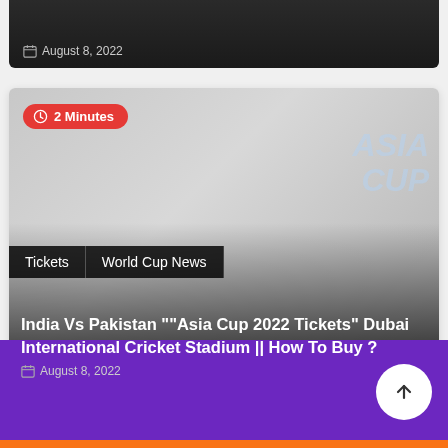August 8, 2022
[Figure (photo): Asia Cup 2022 article card with stadium/cricket imagery and Asia Cup logo watermark]
2 Minutes
Tickets
World Cup News
India Vs Pakistan ""Asia Cup 2022 Tickets" Dubai International Cricket Stadium || How To Buy ?
August 8, 2022